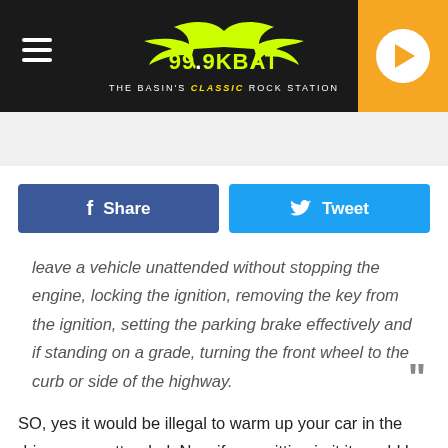99.9 KBAT — The Basin's Classic Rock Station
LISTEN LIVE ▶  JEN AUSTIN
[Figure (screenshot): Facebook Share button and Twitter Tweet button]
leave a vehicle unattended without stopping the engine, locking the ignition, removing the key from the ignition, setting the parking brake effectively and if standing on a grade, turning the front wheel to the curb or side of the highway.
SO, yes it would be illegal to warm up your car in the driveway unattended. Now if your sitting in it it would be okay but what's the point if you can not warm it up prior to